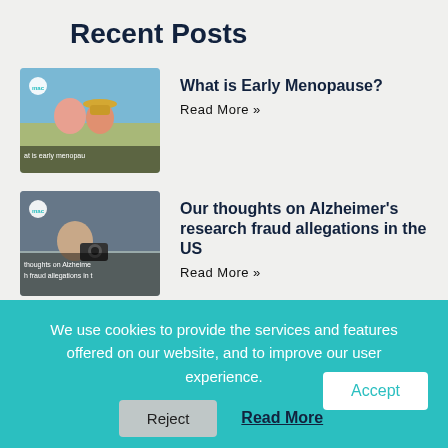Recent Posts
[Figure (photo): Thumbnail image for 'What is Early Menopause?' post — two women outdoors, with text overlay]
What is Early Menopause?
Read More »
[Figure (photo): Thumbnail image for 'Our thoughts on Alzheimer's research fraud allegations in the US' post — person with camera, text overlay]
Our thoughts on Alzheimer's research fraud allegations in the US
Read More »
[Figure (photo): Thumbnail image for 'Living with COPD in the Summer' post — person drinking outdoors, text overlay]
Living with COPD in the Summer
Read More »
We use cookies to provide the services and features offered on our website, and to improve our user experience.
Accept
Reject
Read More